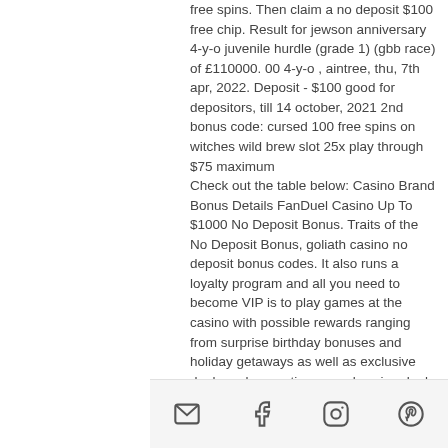free spins. Then claim a no deposit $100 free chip. Result for jewson anniversary 4-y-o juvenile hurdle (grade 1) (gbb race) of £110000. 00 4-y-o , aintree, thu, 7th apr, 2022. Deposit - $100 good for depositors, till 14 october, 2021 2nd bonus code: cursed 100 free spins on witches wild brew slot 25x play through $75 maximum Check out the table below: Casino Brand Bonus Details FanDuel Casino Up To $1000 No Deposit Bonus. Traits of the No Deposit Bonus, goliath casino no deposit bonus codes. It also runs a loyalty program and all you need to become VIP is to play games at the casino with possible rewards ranging from surprise birthday bonuses and holiday getaways as well as exclusive deals and promotions, revel casino deal falls through. Banking options supported on the casino include Visa, MasterCard, Upaycard.
email | facebook | instagram | pinterest